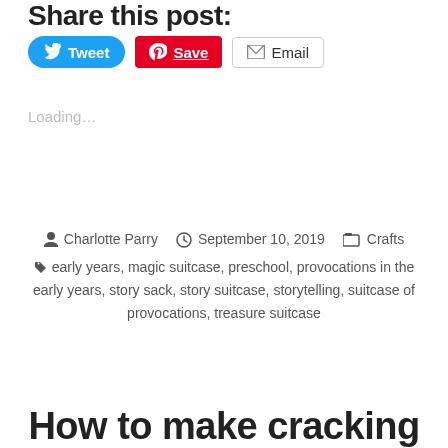Share this post:
[Figure (screenshot): Social share buttons: Tweet (blue), Save (red Pinterest), Email (outlined)]
Loading...
Charlotte Parry  September 10, 2019  Crafts  early years, magic suitcase, preschool, provocations in the early years, story sack, story suitcase, storytelling, suitcase of provocations, treasure suitcase
How to make cracking